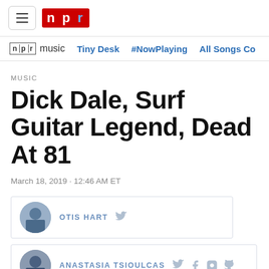NPR navigation bar with hamburger menu and NPR logo
npr music | Tiny Desk | #NowPlaying | All Songs Co...
MUSIC
Dick Dale, Surf Guitar Legend, Dead At 81
March 18, 2019 · 12:46 AM ET
OTIS HART
ANASTASIA TSIOULCAS